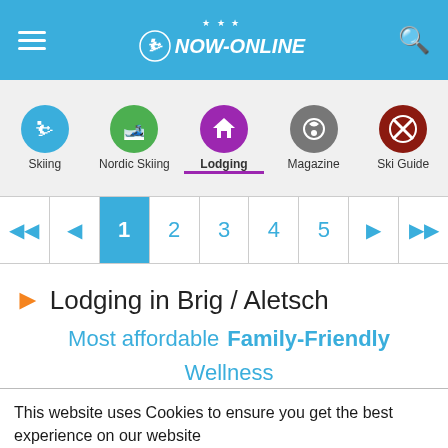NOW-ONLINE
[Figure (screenshot): Navigation bar with icons for Skiing, Nordic Skiing, Lodging (active), Magazine, Ski Guide]
[Figure (infographic): Pagination bar with buttons: first, previous, 1 (active), 2, 3, 4, 5, next, last]
Lodging in Brig / Aletsch
Most affordable  Family-Friendly  Wellness
This website uses Cookies to ensure you get the best experience on our website
Data Protection Regulations
I got it